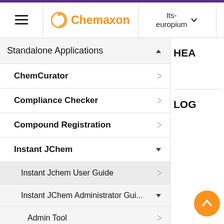[Figure (screenshot): Chemaxon website navigation header with hamburger menu, Chemaxon logo in orange, environment selector showing 'Its-europium' with dropdown arrow, and search icon]
Standalone Applications (expanded, arrow pointing left/filled)
ChemCurator (arrow pointing right/outline)
Compliance Checker (arrow pointing right/outline)
Compound Registration (arrow pointing right/outline)
Instant JChem (expanded, arrow pointing left/filled)
Instant Jchem User Guide (arrow pointing right/outline)
Instant JChem Administrator Gui... (expanded, arrow pointing left/filled)
Admin Tool (arrow pointing right/outline)
IJC Deployment Guide
HEA
LOG